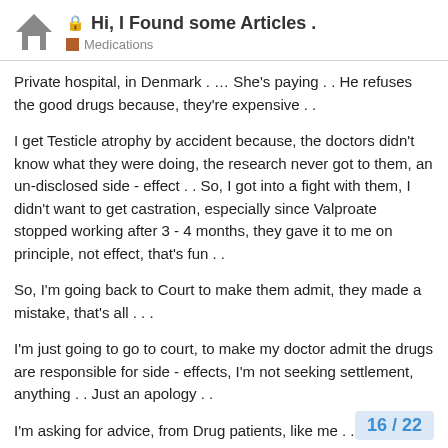Hi, I Found some Articles . — Medications
Private hospital, in Denmark . … She's paying . . He refuses the good drugs because, they're expensive . .
I get Testicle atrophy by accident because, the doctors didn't know what they were doing, the research never got to them, an un-disclosed side - effect . . So, I got into a fight with them, I didn't want to get castration, especially since Valproate stopped working after 3 - 4 months, they gave it to me on principle, not effect, that's fun . .
So, I'm going back to Court to make them admit, they made a mistake, that's all . . .
I'm just going to go to court, to make my doctor admit the drugs are responsible for side - effects, I'm not seeking settlement, anything . . Just an apology . .
I'm asking for advice, from Drug patients, like me . . . …
16 / 22